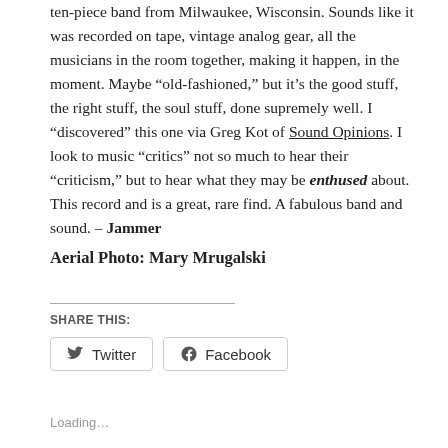ten-piece band from Milwaukee, Wisconsin. Sounds like it was recorded on tape, vintage analog gear, all the musicians in the room together, making it happen, in the moment. Maybe “old-fashioned,” but it’s the good stuff, the right stuff, the soul stuff, done supremely well. I “discovered” this one via Greg Kot of Sound Opinions. I look to music “critics” not so much to hear their “criticism,” but to hear what they may be enthused about. This record and is a great, rare find. A fabulous band and sound. – Jammer
Aerial Photo: Mary Mrugalski
SHARE THIS:
Twitter
Facebook
Loading…